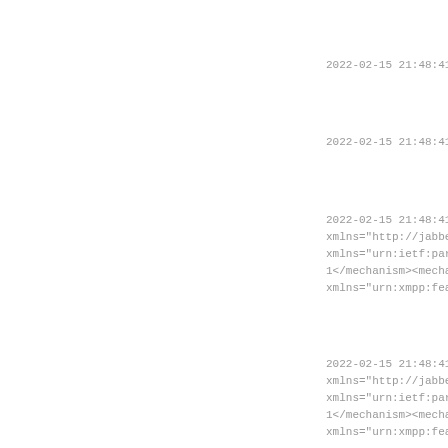2022-02-15 21:48:41 |
2022-02-15 21:48:41 | &
2022-02-15 21:48:41 |
xmlns="http://jabber.or
xmlns="urn:ietf:params:
1</mechanism><mechanisn
xmlns="urn:xmpp:feature
2022-02-15 21:48:41 | &
xmlns="http://jabber.or
xmlns="urn:ietf:params:
1</mechanism><mechanisn
xmlns="urn:xmpp:feature
2022-02-15 21:48:41 |
256">biwsbj1hZG1pbixyPT
2022-02-15 21:48:41 | &
256">biwsbj1hZG1pbixyPT
2022-02-15 21:48:41 |
sasl">cj03REVxWlVFR1k5d